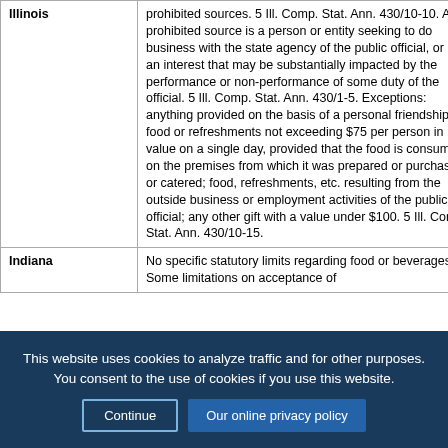| State | Description |
| --- | --- |
| Illinois | prohibited sources. 5 Ill. Comp. Stat. Ann. 430/10-10. A prohibited source is a person or entity seeking to do business with the state agency of the public official, or has an interest that may be substantially impacted by the performance or non-performance of some duty of the official. 5 Ill. Comp. Stat. Ann. 430/1-5. Exceptions: anything provided on the basis of a personal friendship; food or refreshments not exceeding $75 per person in value on a single day, provided that the food is consumed on the premises from which it was prepared or purchased or catered; food, refreshments, etc. resulting from the outside business or employment activities of the public official; any other gift with a value under $100. 5 Ill. Comp. Stat. Ann. 430/10-15. |
| Indiana | No specific statutory limits regarding food or beverages. Some limitations on acceptance of... |
This website uses cookies to analyze traffic and for other purposes. You consent to the use of cookies if you use this website.